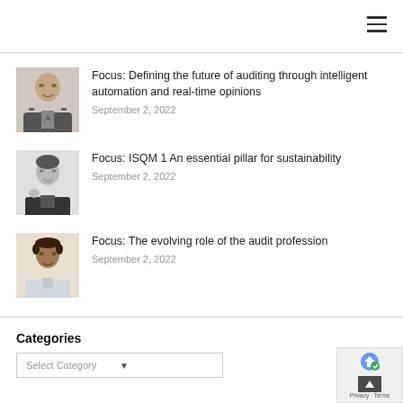Focus: Defining the future of auditing through intelligent automation and real-time opinions
September 2, 2022
Focus: ISQM 1 An essential pillar for sustainability
September 2, 2022
Focus: The evolving role of the audit profession
September 2, 2022
Categories